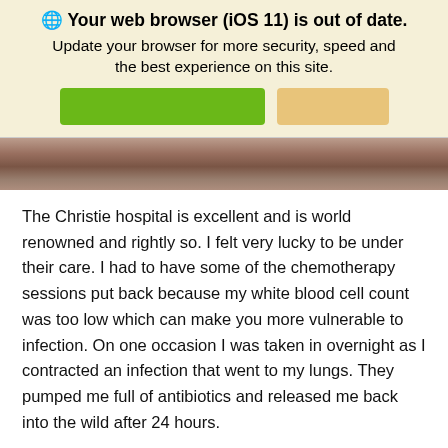🌐 Your web browser (iOS 11) is out of date. Update your browser for more security, speed and the best experience on this site.
[Figure (photo): Partial cropped photo showing people, bottom portion visible as a dark strip]
The Christie hospital is excellent and is world renowned and rightly so. I felt very lucky to be under their care. I had to have some of the chemotherapy sessions put back because my white blood cell count was too low which can make you more vulnerable to infection. On one occasion I was taken in overnight as I contracted an infection that went to my lungs. They pumped me full of antibiotics and released me back into the wild after 24 hours.
The months wore on. I live quite away from the Christie so I managed to get the last 6 of my 12 chemotherapy sessions at one of their outreach